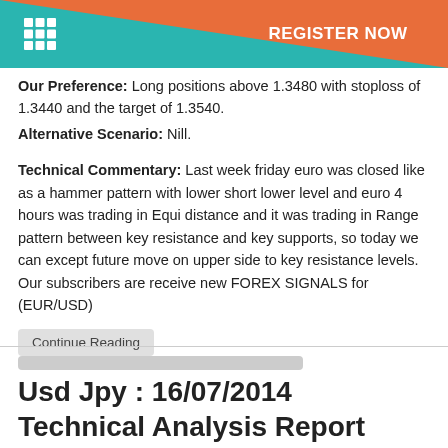REGISTER NOW
Our Preference: Long positions above 1.3480 with stoploss of 1.3440 and the target of 1.3540.
Alternative Scenario: Nill.
Technical Commentary: Last week friday euro was closed like as a hammer pattern with lower short lower level and euro 4 hours was trading in Equi distance and it was trading in Range pattern between key resistance and key supports, so today we can except future move on upper side to key resistance levels. Our subscribers are receive new FOREX SIGNALS for (EUR/USD)
Continue Reading
Usd Jpy : 16/07/2014 Technical Analysis Report